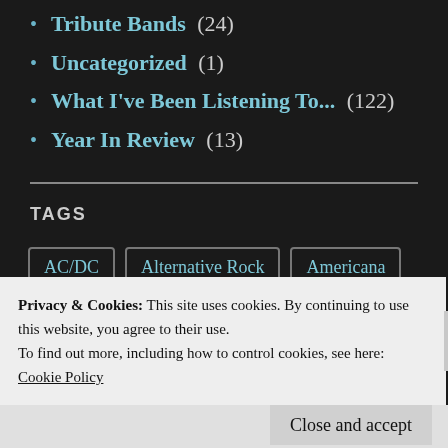Tribute Bands (24)
Uncategorized (1)
What I've Been Listening To... (122)
Year In Review (13)
TAGS
AC/DC  Alternative Rock  Americana
Aretha Franklin  B.B. King  Blues
Privacy & Cookies: This site uses cookies. By continuing to use this website, you agree to their use.
To find out more, including how to control cookies, see here:
Cookie Policy
Close and accept